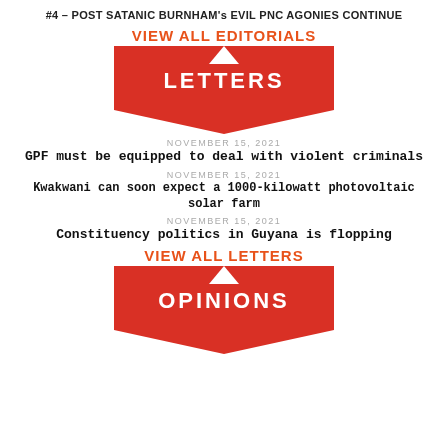#4 – POST SATANIC BURNHAM's EVIL PNC AGONIES CONTINUE
VIEW ALL EDITORIALS
[Figure (illustration): Red ribbon banner with the word LETTERS in white bold text, with a downward notch at top and pointed tail at bottom]
NOVEMBER 15, 2021
GPF must be equipped to deal with violent criminals
NOVEMBER 15, 2021
Kwakwani can soon expect a 1000-kilowatt photovoltaic solar farm
NOVEMBER 15, 2021
Constituency politics in Guyana is flopping
VIEW ALL LETTERS
[Figure (illustration): Red ribbon banner with the word OPINIONS in white bold text, with a downward notch at top and pointed tail at bottom]